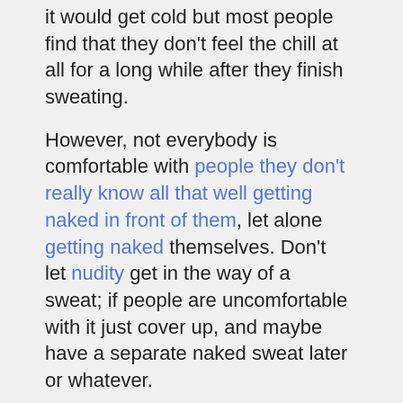it would get cold but most people find that they don't feel the chill at all for a long while after they finish sweating.
However, not everybody is comfortable with people they don't really know all that well getting naked in front of them, let alone getting naked themselves. Don't let nudity get in the way of a sweat; if people are uncomfortable with it just cover up, and maybe have a separate naked sweat later or whatever.
The Sweat
Once your rocks are glowing hot, transfer them very carefully to the pit, using something which won't burn and which